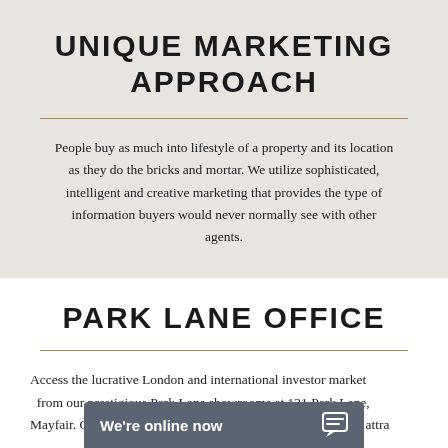UNIQUE MARKETING APPROACH
People buy as much into lifestyle of a property and its location as they do the bricks and mortar. We utilize sophisticated, intelligent and creative marketing that provides the type of information buyers would never normally see with other agents.
PARK LANE OFFICE
Access the lucrative London and international investor market from our prestigious Park Lane showrooms at 121 Park Lane, Mayfair. Our showrooms placed in Europe, attra